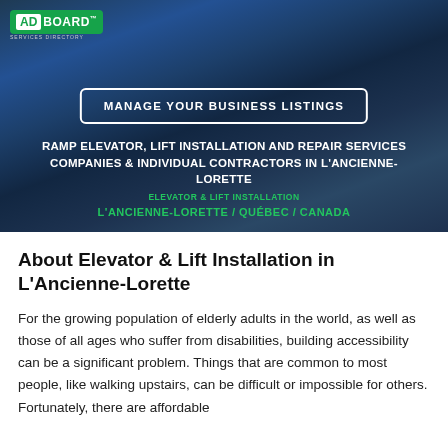[Figure (photo): Hero banner with dark background showing elevator/lift machinery in blue tones, with AdBoard logo top-left, a 'Manage Your Business Listings' button, headline text and breadcrumb location links overlaid.]
About Elevator & Lift Installation in L'Ancienne-Lorette
For the growing population of elderly adults in the world, as well as those of all ages who suffer from disabilities, building accessibility can be a significant problem. Things that are common to most people, like walking upstairs, can be difficult or impossible for others. Fortunately, there are affordable